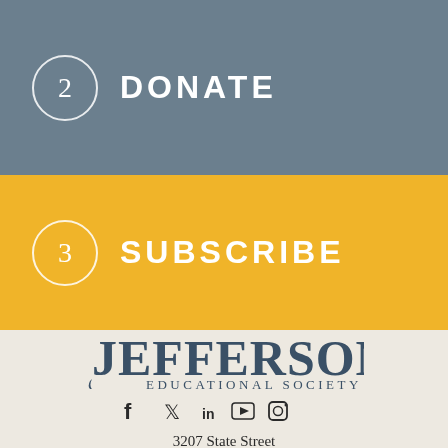2 DONATE
3 SUBSCRIBE
[Figure (logo): Jefferson Educational Society logo with stylized J and serif text]
[Figure (infographic): Social media icons: Facebook, Twitter, LinkedIn, YouTube, Instagram]
3207 State Street